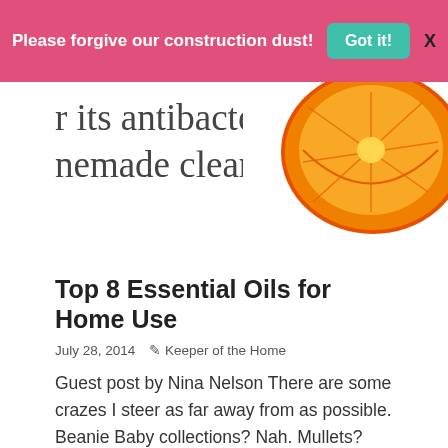Please forgive our construction dust! Got it! X
[Figure (photo): Partial text showing 'r its antibacterial' and 'nemade cleaners.' with a photo of a halved orange on the right side]
Top 8 Essential Oils for Home Use
July 28, 2014  ✏ Keeper of the Home
Guest post by Nina Nelson There are some crazes I steer as far away from as possible. Beanie Baby collections? Nah. Mullets? Shudder. Any comeback of '90s fashion? No thanks. But essential oils? I'm
shouting from the rooftops how much I love them. (OK, so mostly I'm just casually talking about them